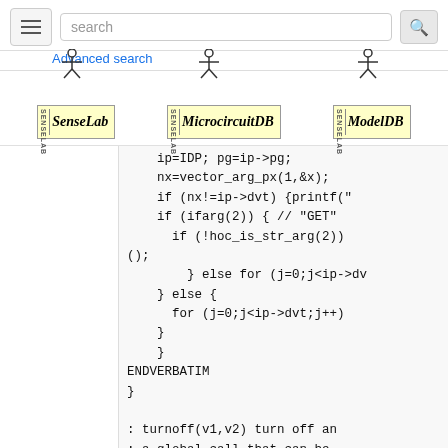search [search button] Advanced search
[Figure (logo): SenseLab, MicrocircuitDB, and ModelDB logos with stick figures on top]
ip=IDP; pg=ip->pg;
    nx=vector_arg_px(1,&x);
    if (nx!=ip->dvt) {printf("
    if (ifarg(2)) { // "GET"
      if (!hoc_is_str_arg(2))
();
        } else for (j=0;j<ip->dv
    } else {
      for (j=0;j<ip->dvt;j++)
    }
    }
ENDVERBATIM
}

: turnoff(v1,v2) turn off an
: a global call that can be
PROCEDURE turnoff () {
  VERBATIM {
    int nx,ny,i,j,k,dvt; doubl
    ip_IDP; pg_ip->pg;